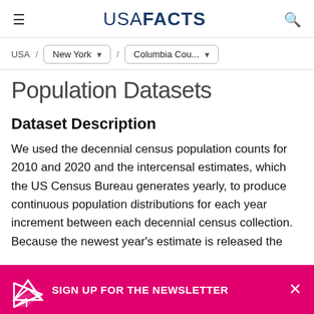USA FACTS
USA / New York / Columbia Cou...
Population Datasets
Dataset Description
We used the decennial census population counts for 2010 and 2020 and the intercensal estimates, which the US Census Bureau generates yearly, to produce continuous population distributions for each year increment between each decennial census collection. Because the newest year's estimate is released the
SIGN UP FOR THE NEWSLETTER